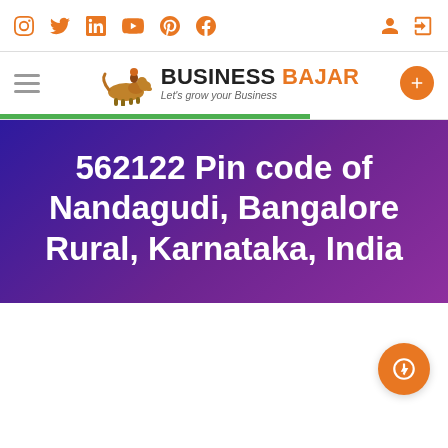Social media icons: Instagram, Twitter, LinkedIn, YouTube, Pinterest, Facebook; user and login icons
[Figure (logo): Business Bajar logo with horse rider icon and tagline 'Let's grow your Business']
562122 Pin code of Nandagudi, Bangalore Rural, Karnataka, India